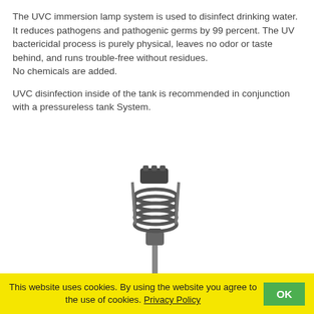The UVC immersion lamp system is used to disinfect drinking water. It reduces pathogens and pathogenic germs by 99 percent. The UV bactericidal process is purely physical, leaves no odor or taste behind, and runs trouble-free without residues. No chemicals are added.

UVC disinfection inside of the tank is recommended in conjunction with a pressureless tank System.
[Figure (photo): A UVC immersion lamp system — a coiled UV lamp assembly on a long metal rod with a connector fitting, shown vertically.]
This website uses cookies. By using the website you agree to the use of cookies. Privacy Policy  OK